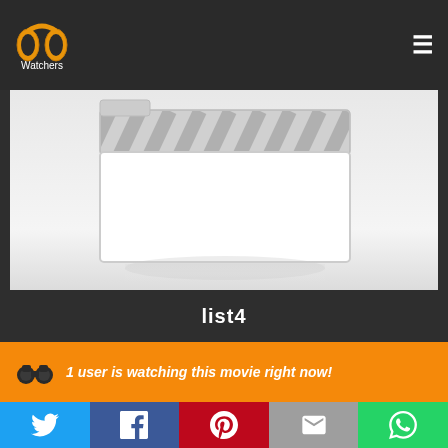[Figure (logo): PP Watchers logo — two yellow/orange headphone ear cups forming PP shape, with 'Watchers' text below in white]
[Figure (illustration): Movie clapperboard placeholder image — grey diagonal stripes at top, large white rectangle below, faint reflection at bottom on white/light grey background]
list4
1 user is watching this movie right now!
[Figure (infographic): Social sharing bar with five buttons: Twitter (blue bird), Facebook (blue f), Pinterest (red P), Email (grey envelope), WhatsApp (green phone)]